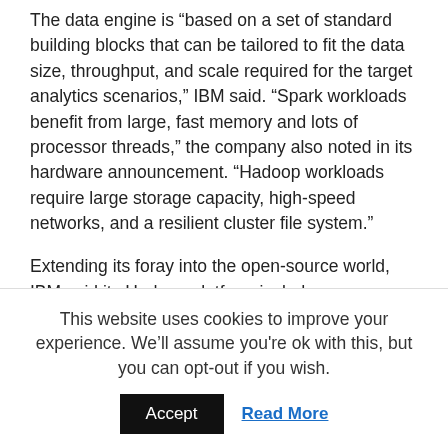The data engine is “based on a set of standard building blocks that can be tailored to fit the data size, throughput, and scale required for the target analytics scenarios,” IBM said. “Spark workloads benefit from large, fast memory and lots of processor threads,” the company also noted in its hardware announcement. “Hadoop workloads require large storage capacity, high-speed networks, and a resilient cluster file system.”
Extending its foray into the open-source world, IBM said its Hadoop platform includes components “aligned with the Open Data Platform consortium” which it joined last year as a founding member. Along with Hadoop components, the open platform release
This website uses cookies to improve your experience. We’ll assume you're ok with this, but you can opt-out if you wish.
Accept
Read More